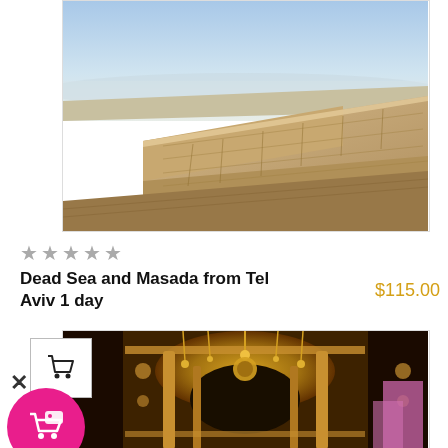[Figure (photo): Aerial/elevated view of ancient stone ruins at Masada, Israel, with desert landscape and Dead Sea in background under hazy blue sky]
★★★★★
Dead Sea and Masada from Tel Aviv 1 day
$115.00
[Figure (photo): Interior of ornate golden religious shrine, likely the Church of the Holy Sepulchre in Jerusalem, decorated with hanging lamps and golden iconography]
[Figure (other): Shopping cart UI widget: white box with cart icon, X close button, and circular pink/magenta button with cart-tag icon]